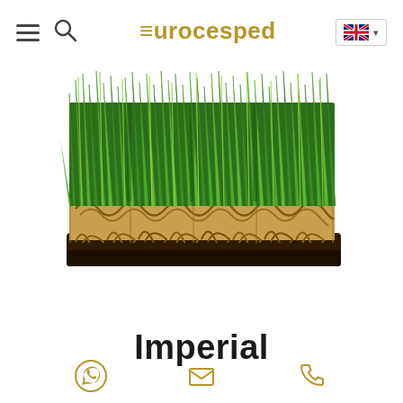eurocesped
[Figure (photo): A block of artificial turf (Imperial product) showing green grass blades standing upright with a brown curly fiber base layer visible, photographed against a white background.]
Imperial
WhatsApp icon, Email icon, Phone icon